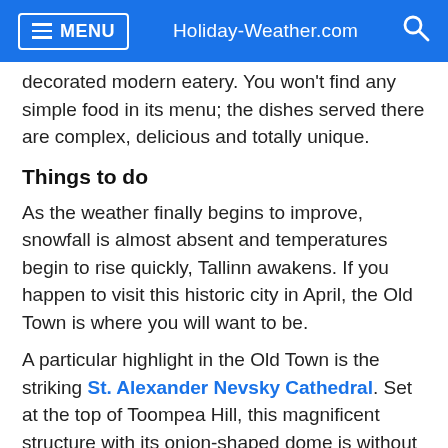MENU  Holiday-Weather.com
decorated modern eatery. You won't find any simple food in its menu; the dishes served there are complex, delicious and totally unique.
Things to do
As the weather finally begins to improve, snowfall is almost absent and temperatures begin to rise quickly, Tallinn awakens. If you happen to visit this historic city in April, the Old Town is where you will want to be.
A particular highlight in the Old Town is the striking St. Alexander Nevsky Cathedral. Set at the top of Toompea Hill, this magnificent structure with its onion-shaped dome is without question the greatest church in the city. It was constructed in 1900, a time when Estonia was incorporated into the Russian Empire. It's